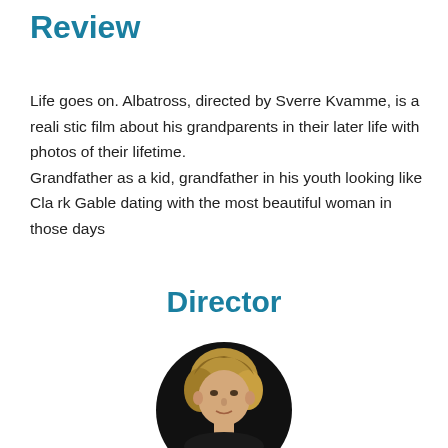Review
Life goes on. Albatross, directed by Sverre Kvamme, is a realistic film about his grandparents in their later life with photos of their lifetime.
Grandfather as a kid, grandfather in his youth looking like Clark Gable dating with the most beautiful woman in those days
Director
[Figure (photo): Circular portrait photo of a young man with medium-length blonde/brown hair against a dark background]